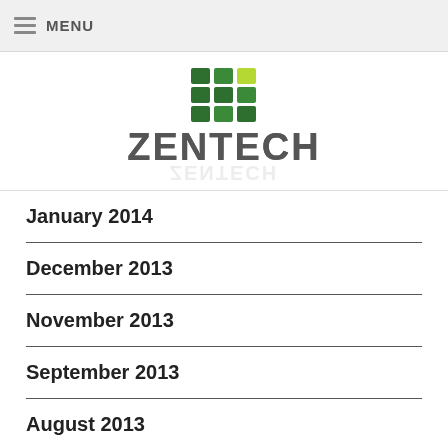MENU
[Figure (logo): Zentech logo with green grid icon above bold ZENTECH text]
January 2014
December 2013
November 2013
September 2013
August 2013